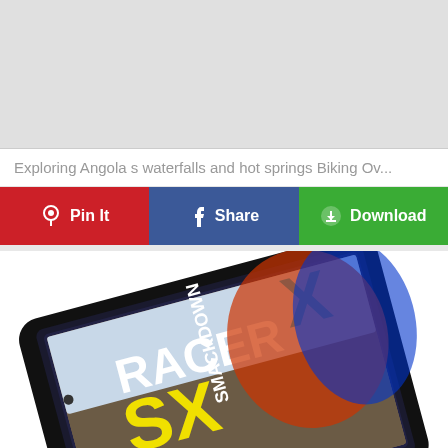[Figure (photo): Gray placeholder image at the top of the page]
Exploring Angola s waterfalls and hot springs Biking Ov...
[Figure (infographic): Three buttons: Pin It (red, Pinterest icon), Share (blue, Facebook icon), Download (green, download icon)]
[Figure (photo): A tablet showing the cover of Racer X magazine with motocross riders and the text RACER X SMACKDOWN]